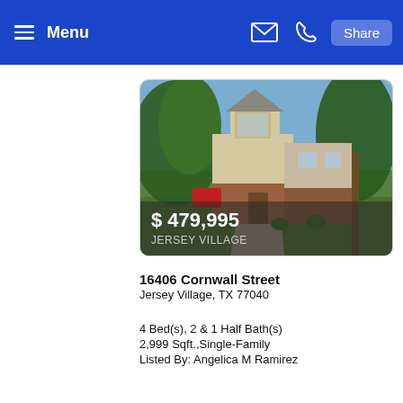Menu | Share
[Figure (photo): Exterior photo of a two-story suburban house with brick lower level, cream stucco upper, large trees in yard, red dumpster visible on left, green lawn, curved driveway. Price overlay shows $ 479,995 and JERSEY VILLAGE.]
16406 Cornwall Street
Jersey Village, TX 77040
4 Bed(s), 2 & 1 Half Bath(s)
2,999 Sqft.,Single-Family
Listed By: Angelica M Ramirez